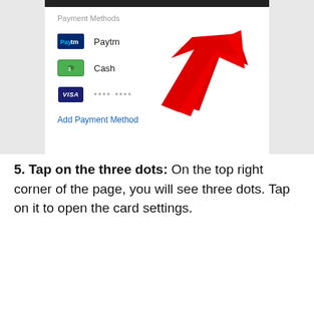[Figure (screenshot): Mobile app screenshot showing Payment Methods screen with Paytm, Cash, and Visa card options, a red arrow pointing to the Visa card row, and an Add Payment Method link at the bottom.]
5. Tap on the three dots: On the top right corner of the page, you will see three dots. Tap on it to open the card settings.